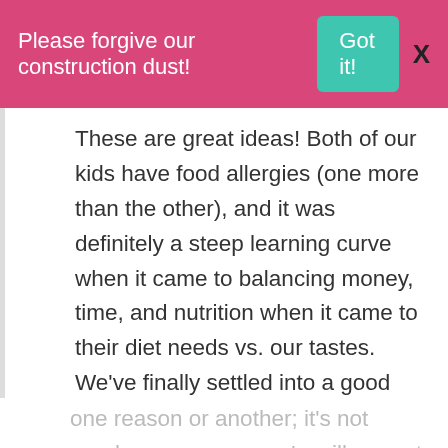Please forgive our construction dust!  Got it!  X
These are great ideas! Both of our kids have food allergies (one more than the other), and it was definitely a steep learning curve when it came to balancing money, time, and nutrition when it came to their diet needs vs. our tastes. We've finally settled into a good groove, and thankfully, have been able to incorporate some foods back into our diet. I still struggle with dairy-free yogurt, too, as the homemade coconut milk yogurt is very tricky! Half the time, the batch is ruined for one reason or another; it's not nearly as easy as cow's milk yogurt. Anyway, other